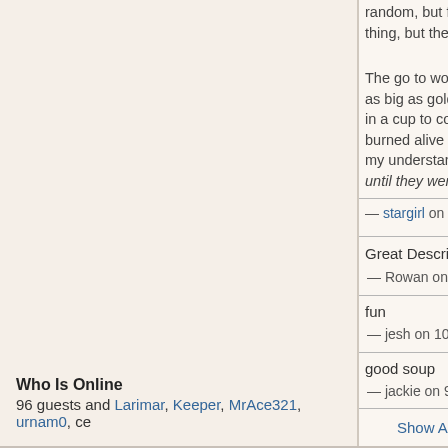random, but for some reason the author chose to use... thing, but the switch from no detail to lots of detail wa...
The go to work path had mostly the same reaction fo... as big as golden retrievers were so unrealistic and s... in a cup to come alive and eat me. Instead you disap... burned alive while hearing laughter. When I went ou... my understanding we couldn't see him. However, wh... until they weren't looking in my direction. How is tha...
view more
— stargirl on 1/3/2022 4:41:25 PM with a score of 0
Great Description!
— Rowan on 11/23/2021 12:19:13 PM with a score of 0
fun
— jesh on 10/4/2021 9:45:06 PM with a score of 0
good soup
— jackie on 9/20/2021 9:47:47 AM with a score of 0
Show All Comments
Who Is Online
96 guests and Larimar, Keeper, MrAce321, urnam0, ce...